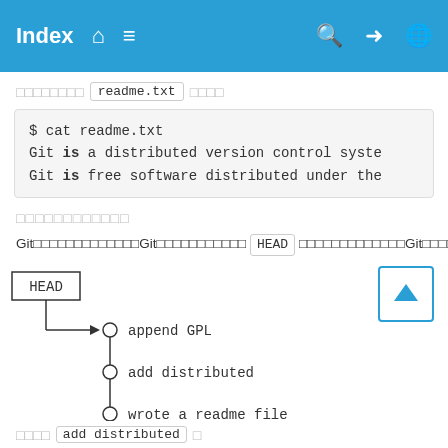Index  🏠  ☰  🔍  ➡  🌐
□□□□□□□□  readme.txt  □□□□
$ cat readme.txt
Git is a distributed version control syste
Git is free software distributed under the
□□□□□□□□□□□□
Git□□□□□□□□□□□□□Git□□□□□□□□□□□  HEAD  □□□□□□□□□□□□□Git□□□□HEAD□
[Figure (flowchart): Git commit history diagram showing HEAD pointing to commits: append GPL, add distributed, wrote a readme file]
□□□□  add distributed  □